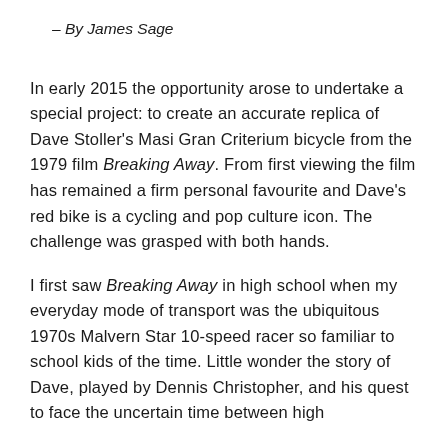– By James Sage
In early 2015 the opportunity arose to undertake a special project: to create an accurate replica of Dave Stoller's Masi Gran Criterium bicycle from the 1979 film Breaking Away. From first viewing the film has remained a firm personal favourite and Dave's red bike is a cycling and pop culture icon. The challenge was grasped with both hands.
I first saw Breaking Away in high school when my everyday mode of transport was the ubiquitous 1970s Malvern Star 10-speed racer so familiar to school kids of the time. Little wonder the story of Dave, played by Dennis Christopher, and his quest to face the uncertain time between high